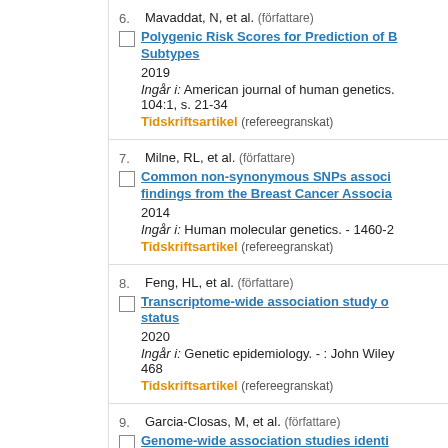6. Mavaddat, N, et al. (författare) Polygenic Risk Scores for Prediction of Breast Cancer and Breast Cancer Subtypes. 2019. Ingår i: American journal of human genetics. 104:1, s. 21-34. Tidskriftsartikel (refereegranskat)
7. Milne, RL, et al. (författare) Common non-synonymous SNPs associated with breast cancer susceptibility: findings from the Breast Cancer Association Consortium. 2014. Ingår i: Human molecular genetics. - 1460-2... Tidskriftsartikel (refereegranskat)
8. Feng, HL, et al. (författare) Transcriptome-wide association study of breast cancer risk by estrogen-receptor status. 2020. Ingår i: Genetic epidemiology. - : John Wiley... 468. Tidskriftsartikel (refereegranskat)
9. Garcia-Closas, M, et al. (författare) Genome-wide association studies identify four ER negative-specific breast cancer risk loci.